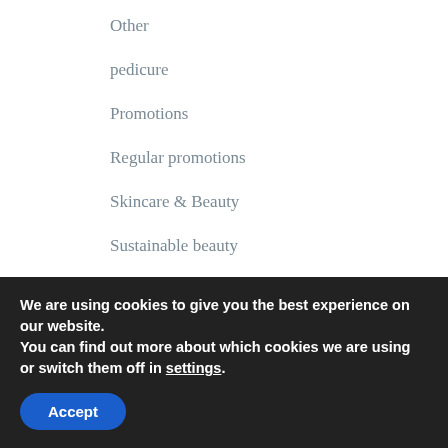Other
pedicure
Promotions
Regular promotions
Skincare & Beauty
Sustainable beauty
Trends
Waxing
ARCHIVES
August 2022 (1)
We are using cookies to give you the best experience on our website.
You can find out more about which cookies we are using or switch them off in settings.
Accept